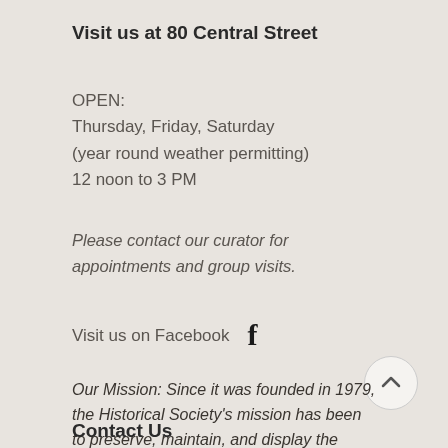Visit us at 80 Central Street
OPEN:
Thursday, Friday, Saturday
(year round weather permitting)
12 noon to 3 PM
Please contact our curator for appointments and group visits.
Visit us on Facebook
Our Mission: Since it was founded in 1979, the Historical Society's mission has been to preserve, maintain, and display the chronicles, culture, and gathered past of those that came before us.
Contact Us